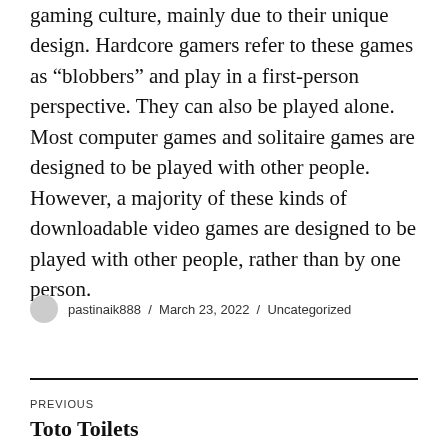gaming culture, mainly due to their unique design. Hardcore gamers refer to these games as “blobbers” and play in a first-person perspective. They can also be played alone. Most computer games and solitaire games are designed to be played with other people. However, a majority of these kinds of downloadable video games are designed to be played with other people, rather than by one person.
pastinaik888 / March 23, 2022 / Uncategorized
PREVIOUS
Toto Toilets